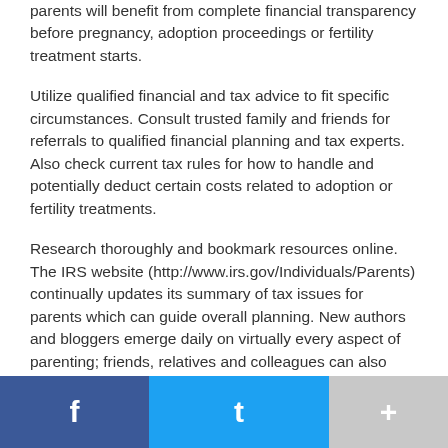parents will benefit from complete financial transparency before pregnancy, adoption proceedings or fertility treatment starts.
Utilize qualified financial and tax advice to fit specific circumstances. Consult trusted family and friends for referrals to qualified financial planning and tax experts. Also check current tax rules for how to handle and potentially deduct certain costs related to adoption or fertility treatments.
Research thoroughly and bookmark resources online. The IRS website (http://www.irs.gov/Individuals/Parents) continually updates its summary of tax issues for parents which can guide overall planning. New authors and bloggers emerge daily on virtually every aspect of parenting; friends, relatives and colleagues can also provide resources.
For prospective parents who are employed, it is a good idea to evaluate benefits well ahead of a pregnancy, fertilization
f   t   +